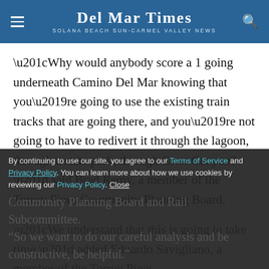Del Mar Times — Solana Beach Sun-Carmel Valley News
“Why would anybody score a 1 going underneath Camino Del Mar knowing that you’re going to use the existing train tracks that are going there, and you’re not going to have to redivert it through the lagoon, through a state park, through Crest Canyon?” said Brad Remy, a member of the Torrey Pines Community Planning Board.
“We understand that this is going to take time,” added Eduardo Savigliano, a member of the Torrey Pines Community Planning Board and Rail Subcommittee. “So we want to do our careful analysis and be constructive, be helpful.”
By continuing to use our site, you agree to our Terms of Service and Privacy Policy. You can learn more about how we use cookies by reviewing our Privacy Policy. Close